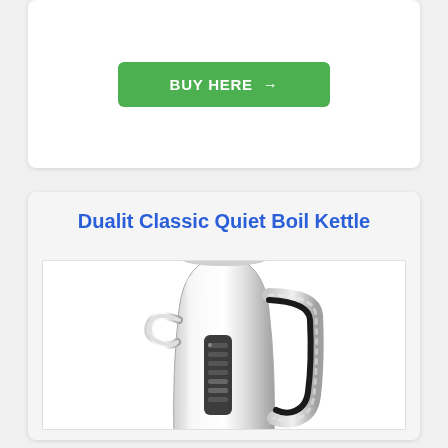[Figure (other): Green 'BUY HERE →' button inside a white card]
Dualit Classic Quiet Boil Kettle
[Figure (photo): Photo of a Dualit Classic Quiet Boil Kettle — stainless steel polished chrome finish with black handle and temperature selector panel, on a rotating base]